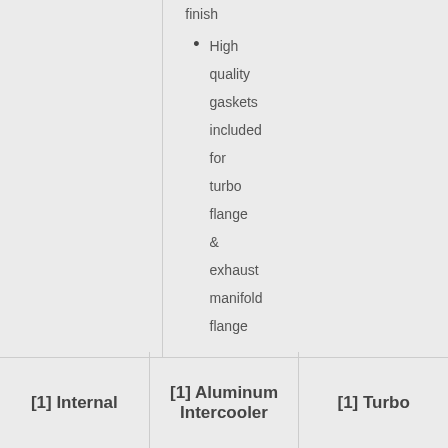finish
High quality gaskets included for turbo flange & exhaust manifold flange
[1] Internal
[1] Aluminum Intercooler
[1] Turbo